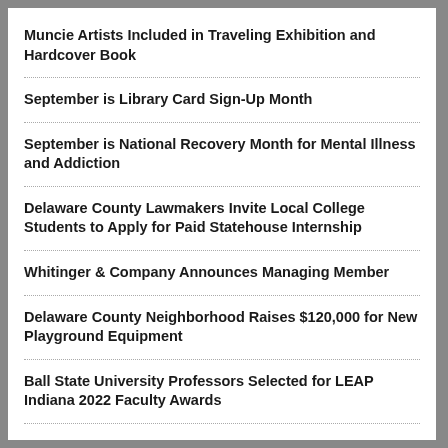Muncie Artists Included in Traveling Exhibition and Hardcover Book
September is Library Card Sign-Up Month
September is National Recovery Month for Mental Illness and Addiction
Delaware County Lawmakers Invite Local College Students to Apply for Paid Statehouse Internship
Whitinger & Company Announces Managing Member
Delaware County Neighborhood Raises $120,000 for New Playground Equipment
Ball State University Professors Selected for LEAP Indiana 2022 Faculty Awards